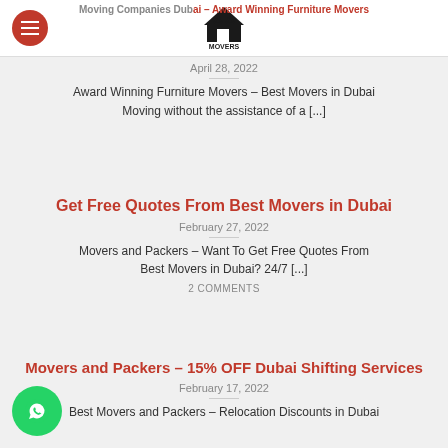Moving Companies Dubai – Award Winning Furniture Movers
April 28, 2022
Award Winning Furniture Movers – Best Movers in Dubai Moving without the assistance of a [...]
Get Free Quotes From Best Movers in Dubai
February 27, 2022
Movers and Packers – Want To Get Free Quotes From Best Movers in Dubai? 24/7 [...]
2 COMMENTS
Movers and Packers – 15% OFF Dubai Shifting Services
February 17, 2022
Best Movers and Packers – Relocation Discounts in Dubai